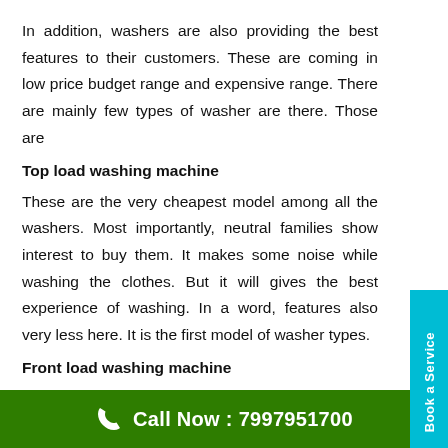In addition, washers are also providing the best features to their customers. These are coming in low price budget range and expensive range. There are mainly few types of washer are there. Those are
Top load washing machine
These are the very cheapest model among all the washers. Most importantly, neutral families show interest to buy them. It makes some noise while washing the clothes. But it will gives the best experience of washing. In a word, features also very less here. It is the first model of washer types.
Front load washing machine
Moreover, It is not a budget free washing machine.
Call Now : 7997951700